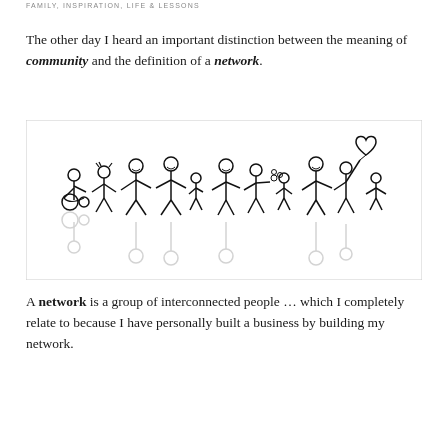FAMILY, INSPIRATION, LIFE & LESSONS
The other day I heard an important distinction between the meaning of community and the definition of a network.
[Figure (illustration): Stick figure illustration of a diverse group of people holding hands in a line, including a person in a wheelchair, adults, and children, with a heart balloon on the right. The figures have a mirror reflection below them.]
A network is a group of interconnected people … which I completely relate to because I have personally built a business by building my network.